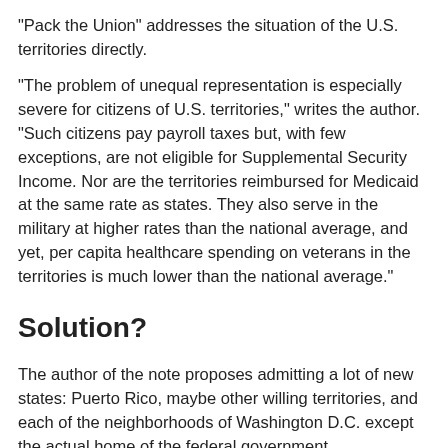“Pack the Union” addresses the situation of the U.S. territories directly.
“The problem of unequal representation is especially severe for citizens of U.S. territories,” writes the author. “Such citizens pay payroll taxes but, with few exceptions, are not eligible for Supplemental Security Income. Nor are the territories reimbursed for Medicaid at the same rate as states. They also serve in the military at higher rates than the national average, and yet, per capita healthcare spending on veterans in the territories is much lower than the national average.”
Solution?
The author of the note proposes admitting a lot of new states: Puerto Rico, maybe other willing territories, and each of the neighborhoods of Washington D.C. except the actual home of the federal government. Acknowledging that this sounds like a radical proposal, the note argues that it isn’t as radical as it might seem. “It should not be a radical proposition for the Constitution to treat citizens’ votes equally,” the author says. “The United States was founded on the